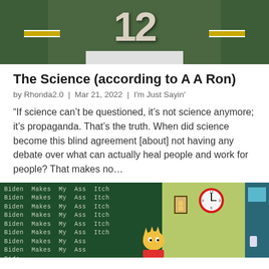[Figure (photo): Photo of a person wearing a green and yellow Green Bay Packers #12 jersey, cropped at torso level]
The Science (according to A A Ron)
by Rhonda2.0 | Mar 21, 2022 | I'm Just Sayin'
“If science can’t be questioned, it’s not science anymore; it’s propaganda. That’s the truth. When did science become this blind agreement [about] not having any debate over what can actually heal people and work for people? That makes no…
[Figure (photo): Simpsons-style animation still showing a chalkboard with text 'Biden Makes My Ass Itch' written repeatedly, a classroom with green walls, a red clock, a teal door, and Bart Simpson writing at the board]